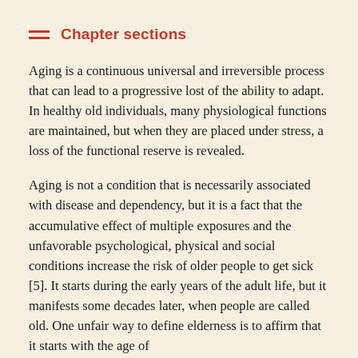Chapter sections
Aging is a continuous universal and irreversible process that can lead to a progressive lost of the ability to adapt. In healthy old individuals, many physiological functions are maintained, but when they are placed under stress, a loss of the functional reserve is revealed.
Aging is not a condition that is necessarily associated with disease and dependency, but it is a fact that the accumulative effect of multiple exposures and the unfavorable psychological, physical and social conditions increase the risk of older people to get sick [5]. It starts during the early years of the adult life, but it manifests some decades later, when people are called old. One unfair way to define elderness is to affirm that it starts with the age of